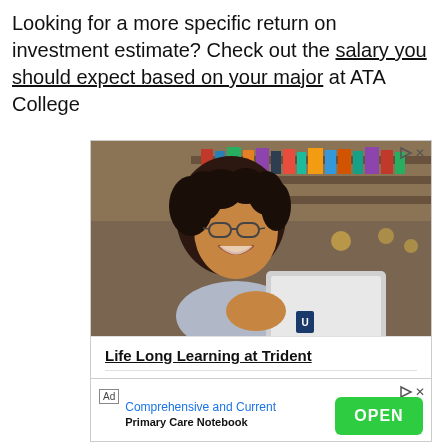Looking for a more specific return on investment estimate? Check out the salary you should expect based on your major at ATA College
[Figure (photo): Advertisement banner for Trident University showing a smiling woman with glasses using a laptop in a café setting. Text reads 'Life Long Learning at Trident' with Trident University Intl. and a Learn More link.]
[Figure (screenshot): Second advertisement: Ad badge, 'Comprehensive and Current' link in blue, 'Primary Care Notebook' text, and a green OPEN button.]